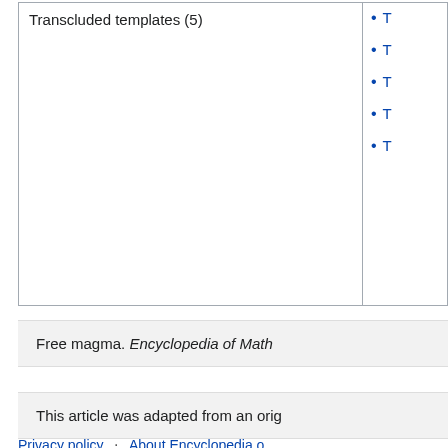| Transcluded templates (5) |  |
| --- | --- |
|  | T
T
T
T
T |
Free magma. Encyclopedia of Math...
This article was adapted from an orig...
Privacy policy · About Encyclopedia o... · Disclaimers · Manage Cookies